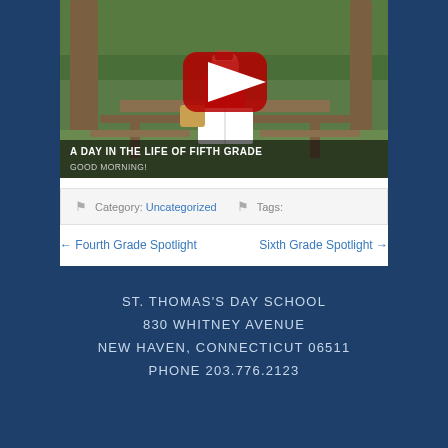[Figure (screenshot): YouTube video thumbnail showing a student sitting at an outdoor picnic table reading, with a large red play button overlay. Caption reads 'A DAY IN THE LIFE OF FIFTH GRADE / GOOD MORNING!']
Category: Uncategorized   Tags:
← Fourth Grade Spotlight   Sixth Grade Spotlight →
ST. THOMAS'S DAY SCHOOL
830 WHITNEY AVENUE
NEW HAVEN, CONNECTICUT 06511
PHONE 203.776.2123